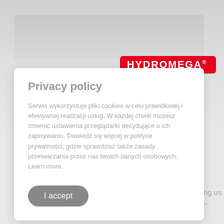[Figure (screenshot): Background of a website showing a partially visible HYDROMEGA logo in red, with some grayed-out content and a 'Read more' button at the bottom.]
Privacy policy
Serwis wykorzystuje pliki cookies w celu prawidłowej i efektywnej realizacji usług. W każdej chwili możesz zmienić ustawienia przeglądarki decydujące o ich zapisywaniu. Dowiedz się więcej w polityce prywatności, gdzie sprawdzisz także zasady przetwarzania przez nas twoich danych osobowych. Learn more.
I accept